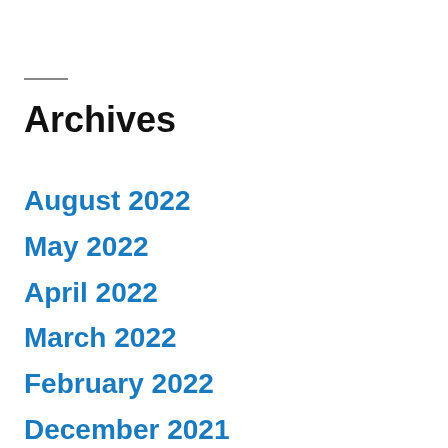Archives
August 2022
May 2022
April 2022
March 2022
February 2022
December 2021
October 2021